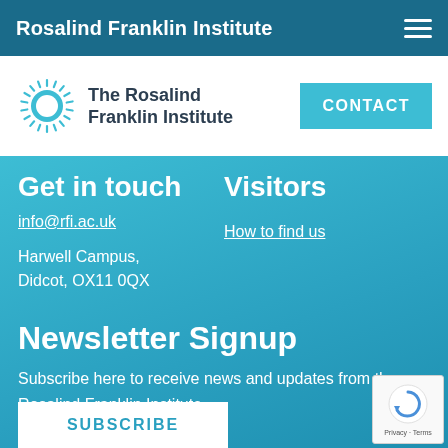Rosalind Franklin Institute
[Figure (logo): The Rosalind Franklin Institute logo with sunburst icon and institute name text]
Get in touch
info@rfi.ac.uk
Harwell Campus,
Didcot, OX11 0QX
Visitors
How to find us
Newsletter Signup
Subscribe here to receive news and updates from the Rosalind Franklin Institute
SUBSCRIBE